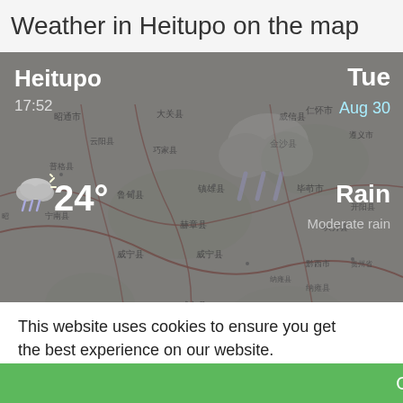Weather in Heitupo on the map
[Figure (map): Map of Heitupo region in China showing surrounding counties and cities including 昭通市, 威宁县, 仁怀市, 毕节市, 六盘水市, 贵阳市 etc. with red road lines overlaid. A weather widget is overlaid on the map showing: city Heitupo, time 17:52, day Tue, date Aug 30, temperature 24°, weather condition Rain / Moderate rain, and a forecast strip showing days Tue, Wed, Thu, Fri, Sat, Sun.]
This website uses cookies to ensure you get the best experience on our website.
Learn more.
Got it!